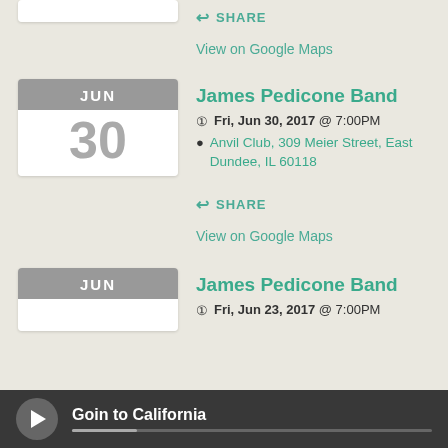[Figure (other): Partial calendar badge visible at top left corner (white box, clipped)]
SHARE
View on Google Maps
James Pedicone Band
Fri, Jun 30, 2017 @ 7:00PM
Anvil Club, 309 Meier Street, East Dundee, IL 60118
SHARE
View on Google Maps
James Pedicone Band
Fri, Jun 23, 2017 @ 7:00PM
Goin to California